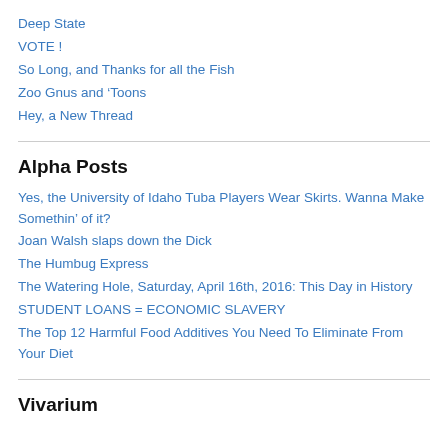Deep State
VOTE !
So Long, and Thanks for all the Fish
Zoo Gnus and ‘Toons
Hey, a New Thread
Alpha Posts
Yes, the University of Idaho Tuba Players Wear Skirts. Wanna Make Somethin’ of it?
Joan Walsh slaps down the Dick
The Humbug Express
The Watering Hole, Saturday, April 16th, 2016: This Day in History
STUDENT LOANS = ECONOMIC SLAVERY
The Top 12 Harmful Food Additives You Need To Eliminate From Your Diet
Vivarium